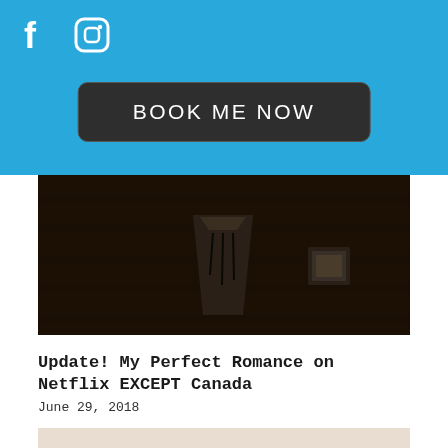Social media icons (Facebook, Instagram) and BOOK ME NOW button
[Figure (photo): Dark moody photo showing a cup/vase on a dark wooden background with a small framed item]
Update! My Perfect Romance on Netflix EXCEPT Canada
June 29, 2018
[Figure (photo): Group photo of approximately 9-10 people smiling together in a bright room]